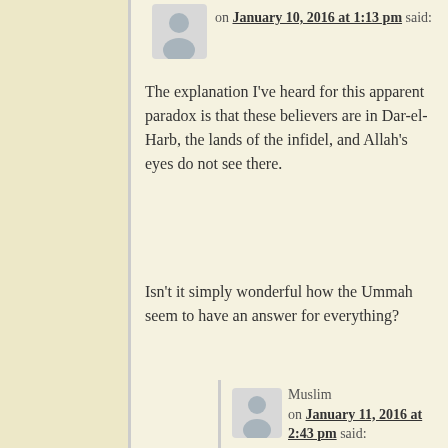on January 10, 2016 at 1:13 pm said:
The explanation I've heard for this apparent paradox is that these believers are in Dar-el-Harb, the lands of the infidel, and Allah's eyes do not see there.
Isn't it simply wonderful how the Ummah seem to have an answer for everything?
Muslim on January 11, 2016 at 2:43 pm said:
I doubt the veracity of that statement.
RegT on January 12, 2016 at 12:26 am said: